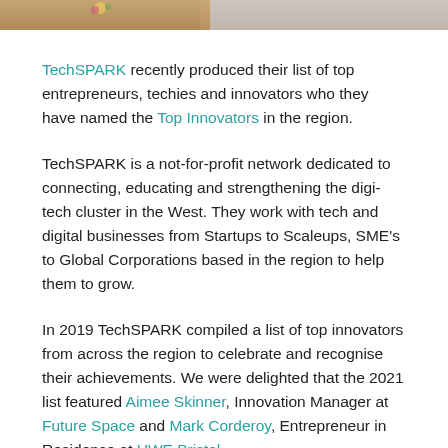[Figure (photo): Top portion of two people's photographs side by side, cropped at the bottom of the image strip]
TechSPARK recently produced their list of top entrepreneurs, techies and innovators who they have named the Top Innovators in the region.
TechSPARK is a not-for-profit network dedicated to connecting, educating and strengthening the digi-tech cluster in the West. They work with tech and digital businesses from Startups to Scaleups, SME's to Global Corporations based in the region to help them to grow.
In 2019 TechSPARK compiled a list of top innovators from across the region to celebrate and recognise their achievements. We were delighted that the 2021 list featured Aimee Skinner, Innovation Manager at Future Space and Mark Corderoy, Entrepreneur in Residence at UWE Bristol